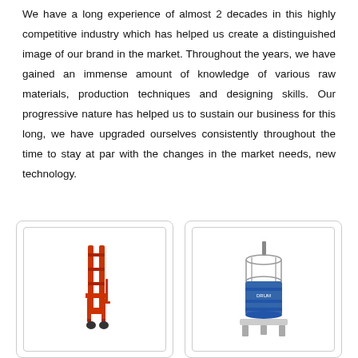We have a long experience of almost 2 decades in this highly competitive industry which has helped us create a distinguished image of our brand in the market. Throughout the years, we have gained an immense amount of knowledge of various raw materials, production techniques and designing skills. Our progressive nature has helped us to sustain our business for this long, we have upgraded ourselves consistently throughout the time to stay at par with the changes in the market needs, new technology.
[Figure (photo): Photo of an orange manual/hydraulic pallet stacker with forks at the bottom and a mast structure]
[Figure (photo): Photo of a blue industrial drum/barrel handling machine or rotary equipment on a cylindrical base]